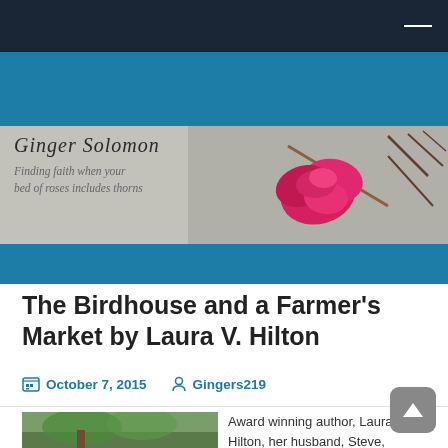[Figure (illustration): Ginger Solomon blog banner: cursive text 'Ginger Solomon' with tagline 'Finding faith when your bed of roses includes thorns', accompanied by a pink rose and thorny branches on a grey background, set on a teal header band.]
The Birdhouse and a Farmer’s Market by Laura V. Hilton
October 7, 2015   Gingers219
[Figure (photo): Outdoor photo showing a person among trees and foliage.]
Award winning author, Laura Hilton, her husband, Steve, and